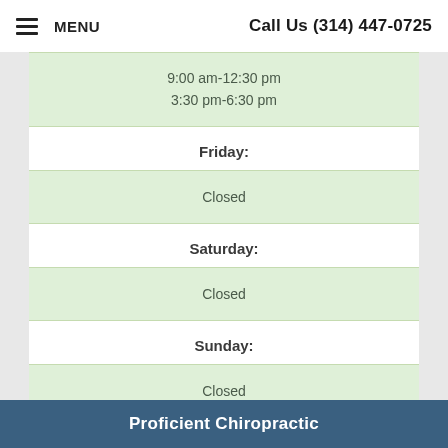MENU | Call Us (314) 447-0725
9:00 am-12:30 pm
3:30 pm-6:30 pm
Friday:
Closed
Saturday:
Closed
Sunday:
Closed
Proficient Chiropractic